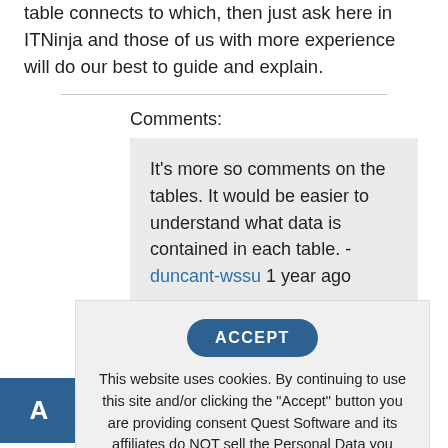table connects to which, then just ask here in ITNinja and those of us with more experience will do our best to guide and explain.
Comments:
It's more so comments on the tables. It would be easier to understand what data is contained in each table. - duncant-wssu 1 year ago
ACCEPT
This website uses cookies. By continuing to use this site and/or clicking the "Accept" button you are providing consent Quest Software and its affiliates do NOT sell the Personal Data you provide to us either when you register on our websites or